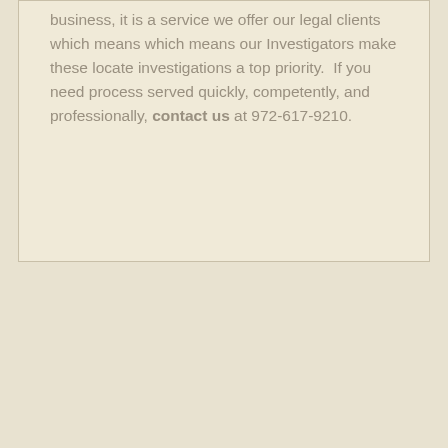business, it is a service we offer our legal clients which means which means our Investigators make these locate investigations a top priority.  If you need process served quickly, competently, and professionally, contact us at 972-617-9210.